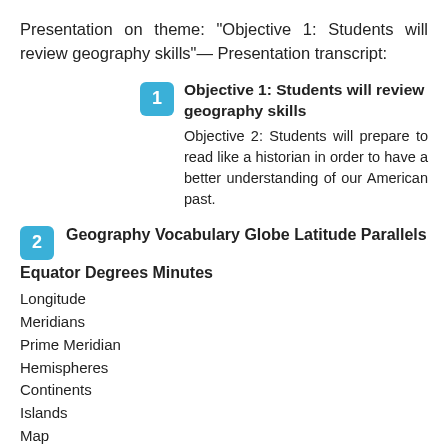Presentation on theme: "Objective 1: Students will review geography skills"—Presentation transcript:
Objective 1: Students will review geography skills
Objective 2: Students will prepare to read like a historian in order to have a better understanding of our American past.
Geography Vocabulary Globe Latitude Parallels Equator Degrees Minutes
Longitude
Meridians
Prime Meridian
Hemispheres
Continents
Islands
Map
Map Projections